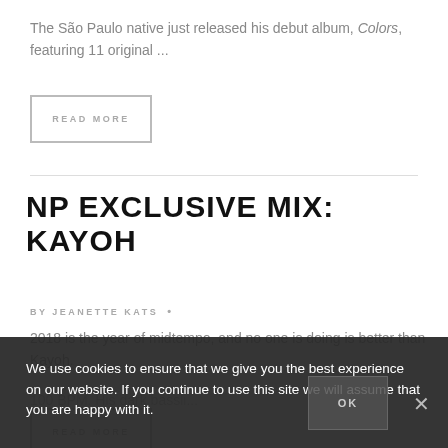The São Paulo native just released his debut album, Colors, featuring 11 original ...
READ MORE
NP EXCLUSIVE MIX: KAYOH
BY JEANETTE KATS •
2018 is the year of midtempo, and no one is doing is better than Kayoh.
100 BPM. His dark bassli...
READ MORE
We use cookies to ensure that we give you the best experience on our website. If you continue to use this site we will assume that you are happy with it.
OK